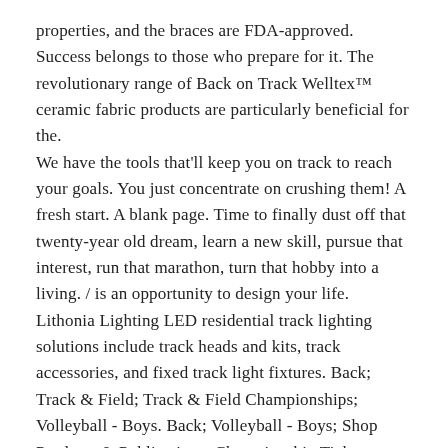properties, and the braces are FDA-approved. Success belongs to those who prepare for it. The revolutionary range of Back on Track Welltex™ ceramic fabric products are particularly beneficial for the. We have the tools that'll keep you on track to reach your goals. You just concentrate on crushing them! A fresh start. A blank page. Time to finally dust off that twenty-year old dream, learn a new skill, pursue that interest, run that marathon, turn that hobby into a living. / is an opportunity to design your life. Lithonia Lighting LED residential track lighting solutions include track heads and kits, track accessories, and fixed track light fixtures. Back; Track & Field; Track & Field Championships; Volleyball - Boys. Back; Volleyball - Boys; Shop Products & Publications; Championship Tickets; Store. Back; Store; Shop Apparel; Pole Vault Planting Box Padding Required for the High School Track Season; Rules Documents. Rules